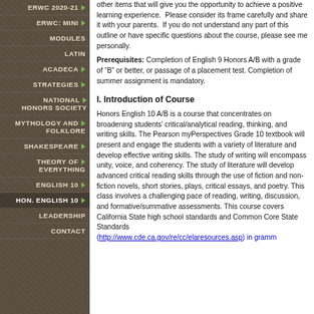ERWC 2020-21
ERWC: MINI
MODULES
LATIN
ACADECA
STRATEGIES
NATIONAL HONORS SOCIETY
MYTHOLOGY AND FOLKLORE
SHAKESPEARE
THEORY OF EVERYTHING
ENGLISH 10
HON. ENGLISH 10
LEADERSHIP
CONTACT
other items that will give you the opportunity to achieve a positive learning experience. Please consider its frame carefully and share it with your parents. If you do not understand any part of this outline or have specific questions about the course, please see me personally.
Prerequisites: Completion of English 9 Honors A/B with a grade of “B” or better, or passage of a placement test. Completion of summer assignment is mandatory.
I. Introduction of Course
Honors English 10 A/B is a course that concentrates on broadening students’ critical/analytical reading, thinking, and writing skills. The Pearson myPerspectives Grade 10 textbook will present and engage the students with a variety of literature and develop effective writing skills. The study of writing will encompass unity, voice, and coherency. The study of literature will develop advanced critical reading skills through the use of fiction and non-fiction novels, short stories, plays, critical essays, and poetry. This class involves a challenging pace of reading, writing, discussion, and formative/summative assessments. This course covers California State high school standards and Common Core State Standards (http://www.cde.ca.gov/re/cc/elaresources.asp) in grammar